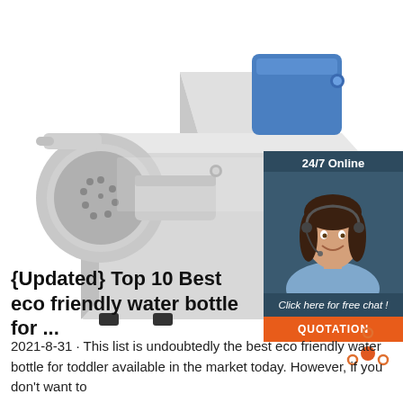[Figure (photo): A stainless steel commercial meat grinder / food processing machine photographed on a white background. The machine has a large cylindrical grinding head on the left with a perforated disc, a blue motor housing on top, and a rectangular silver body with rubber feet.]
[Figure (infographic): A customer service chat widget with dark blue background. Shows '24/7 Online' header text, a photo of a smiling brunette woman wearing a headset, italic text 'Click here for free chat!', and an orange button labeled 'QUOTATION'.]
{Updated} Top 10 Best eco friendly water bottle for ...
[Figure (illustration): An orange dot/arrow icon resembling a 'top' or upward navigation symbol made of dots arranged in a triangle pattern with a solid dot in the center.]
2021-8-31 · This list is undoubtedly the best eco friendly water bottle for toddler available in the market today. However, if you don't want to